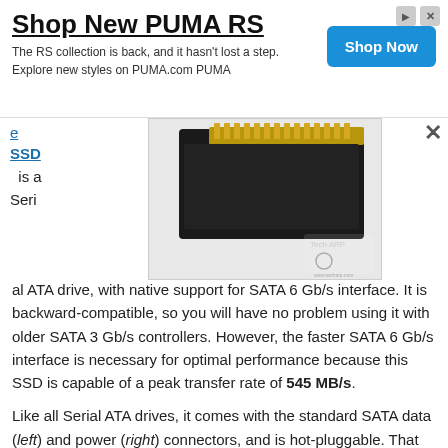[Figure (infographic): Advertisement banner for PUMA RS shoes. Title: Shop New PUMA RS. Body text: The RS collection is back, and it hasn't lost a step. Explore new styles on PUMA.com PUMA. Blue 'Shop Now' button on right.]
[Figure (photo): Photo of an SSD drive connector/interface showing gold contacts and black plastic body, with TechARP.com watermark/logo in bottom right corner.]
SSD is a Serial ATA drive, with native support for SATA 6 Gb/s interface. It is backward-compatible, so you will have no problem using it with older SATA 3 Gb/s controllers. However, the faster SATA 6 Gb/s interface is necessary for optimal performance because this SSD is capable of a peak transfer rate of 545 MB/s.
Like all Serial ATA drives, it comes with the standard SATA data (left) and power (right) connectors, and is hot-pluggable. That means you can connect and disconnect this solid state drive while the PC is still running. There is no need to shut down...